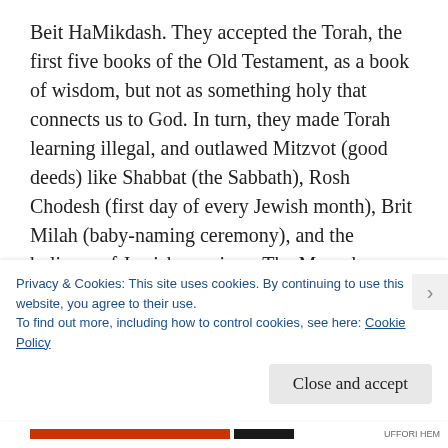Beit HaMikdash. They accepted the Torah, the first five books of the Old Testament, as a book of wisdom, but not as something holy that connects us to God. In turn, they made Torah learning illegal, and outlawed Mitzvot (good deeds) like Shabbat (the Sabbath), Rosh Chodesh (first day of every Jewish month), Brit Milah (baby-naming ceremony), and the holiness of Jewish marriage. The Maccabees, the ancient Jewish army, revolted against the Greeks to keep the Torah and Judaism alive and won.
When the Greeks had stormed their land, they had
Privacy & Cookies: This site uses cookies. By continuing to use this website, you agree to their use.
To find out more, including how to control cookies, see here: Cookie Policy